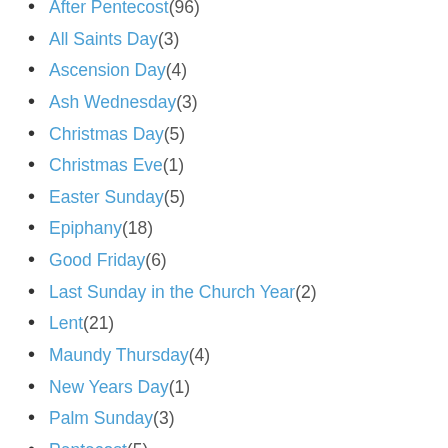After Pentecost (96)
All Saints Day (3)
Ascension Day (4)
Ash Wednesday (3)
Christmas Day (5)
Christmas Eve (1)
Easter Sunday (5)
Epiphany (18)
Good Friday (6)
Last Sunday in the Church Year (2)
Lent (21)
Maundy Thursday (4)
New Years Day (1)
Palm Sunday (3)
Pentecost (5)
Reformation Sunday (4)
Rose Sunday (?)